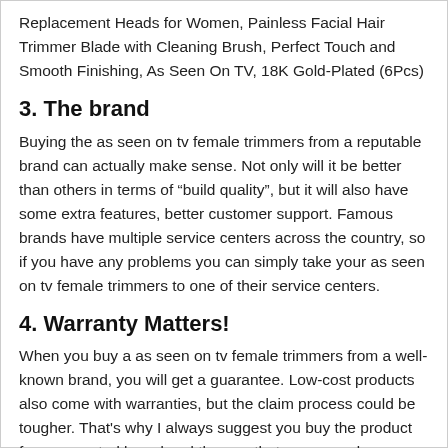Replacement Heads for Women, Painless Facial Hair Trimmer Blade with Cleaning Brush, Perfect Touch and Smooth Finishing, As Seen On TV, 18K Gold-Plated (6Pcs)
3. The brand
Buying the as seen on tv female trimmers from a reputable brand can actually make sense. Not only will it be better than others in terms of “build quality”, but it will also have some extra features, better customer support. Famous brands have multiple service centers across the country, so if you have any problems you can simply take your as seen on tv female trimmers to one of their service centers.
4. Warranty Matters!
When you buy a as seen on tv female trimmers from a well-known brand, you will get a guarantee. Low-cost products also come with warranties, but the claim process could be tougher. That’s why I always suggest you buy the product from a reputed brand and the one that comes under warranty.